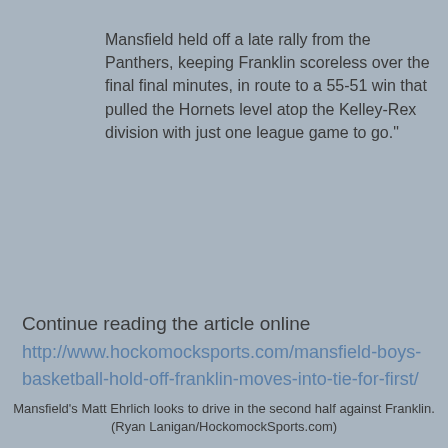Mansfield held off a late rally from the Panthers, keeping Franklin scoreless over the final final minutes, in route to a 55-51 win that pulled the Hornets level atop the Kelley-Rex division with just one league game to go."
Continue reading the article online
http://www.hockomocksports.com/mansfield-boys-basketball-hold-off-franklin-moves-into-tie-for-first/
Mansfield's Matt Ehrlich looks to drive in the second half against Franklin. (Ryan Lanigan/HockomockSports.com)